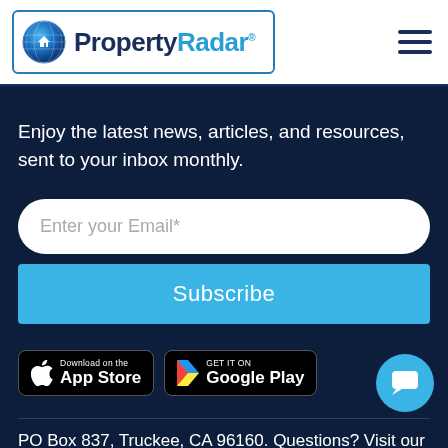[Figure (logo): PropertyRadar logo with globe icon inside a rounded rectangle border]
Enjoy the latest news, articles, and resources, sent to your inbox monthly.
Enter your Email*
Subscribe
[Figure (other): Download on the App Store badge]
[Figure (other): GET IT ON Google Play badge]
PO Box 837, Truckee, CA 96160. Questions? Visit our